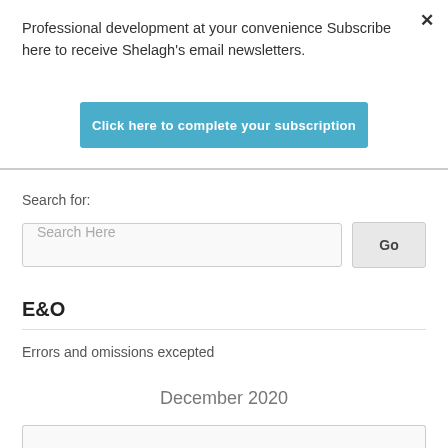Professional development at your convenience Subscribe here to receive Shelagh's email newsletters.
[Figure (other): Blue subscription button with white bold text: Click here to complete your subscription]
Search for:
[Figure (other): Search input field with placeholder 'Search Here' and a Go button]
E&O
Errors and omissions excepted
December 2020